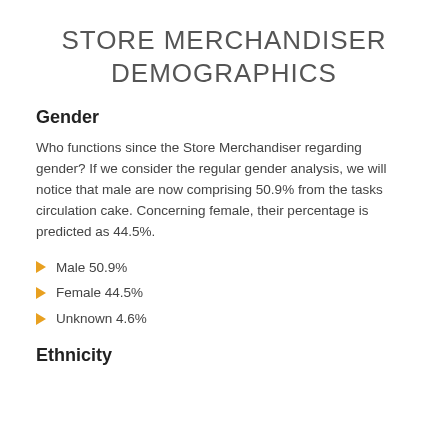STORE MERCHANDISER DEMOGRAPHICS
Gender
Who functions since the Store Merchandiser regarding gender? If we consider the regular gender analysis, we will notice that male are now comprising 50.9% from the tasks circulation cake. Concerning female, their percentage is predicted as 44.5%.
Male 50.9%
Female 44.5%
Unknown 4.6%
Ethnicity